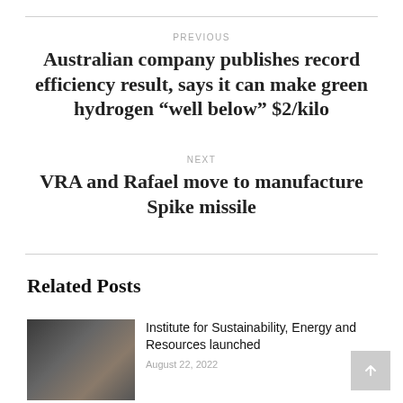PREVIOUS
Australian company publishes record efficiency result, says it can make green hydrogen “well below” $2/kilo
NEXT
VRA and Rafael move to manufacture Spike missile
Related Posts
[Figure (photo): Industrial machinery photo]
Institute for Sustainability, Energy and Resources launched
August 22, 2022